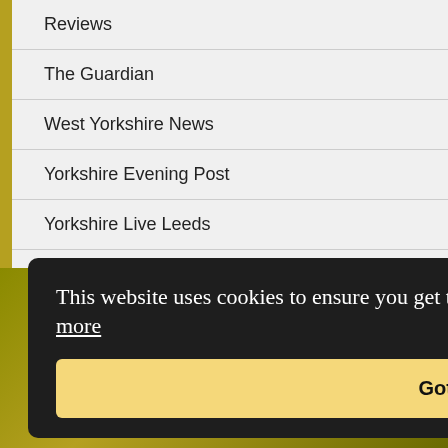Reviews
The Guardian
West Yorkshire News
Yorkshire Evening Post
Yorkshire Live Leeds
an
ost on
Submit
This website uses cookies to ensure you get the best experience on our website. Learn more
Got it!